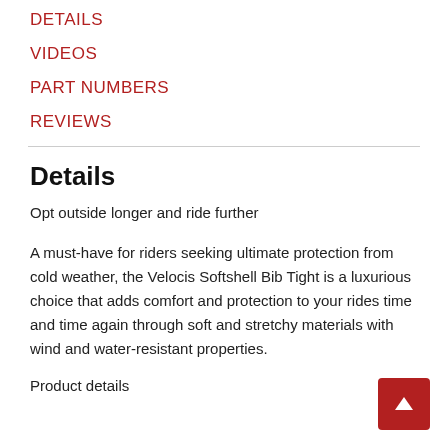DETAILS
VIDEOS
PART NUMBERS
REVIEWS
Details
Opt outside longer and ride further
A must-have for riders seeking ultimate protection from cold weather, the Velocis Softshell Bib Tight is a luxurious choice that adds comfort and protection to your rides time and time again through soft and stretchy materials with wind and water-resistant properties.
Product details